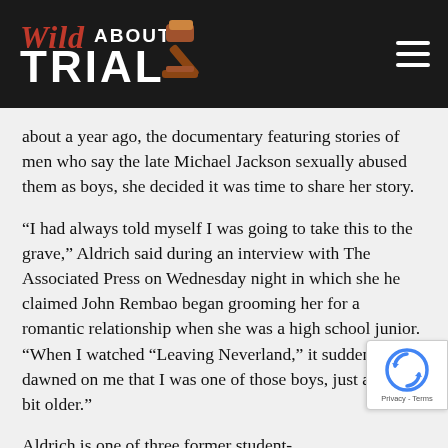Wild About Trial
about a year ago, the documentary featuring stories of men who say the late Michael Jackson sexually abused them as boys, she decided it was time to share her story.
“I had always told myself I was going to take this to the grave,” Aldrich said during an interview with The Associated Press on Wednesday night in which she he claimed John Rembao began grooming her for a romantic relationship when she was a high school junior. “When I watched “Leaving Neverland,” it suddenly dawned on me that I was one of those boys, just a little bit older.”
Aldrich is one of three former student-athletes who say in a lawsuit filed against the NCAA that